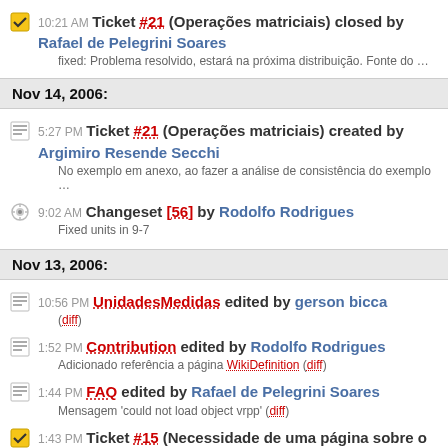10:21 AM Ticket #21 (Operações matriciais) closed by Rafael de Pelegrini Soares
fixed: Problema resolvido, estará na próxima distribuição. Fonte do ...
Nov 14, 2006:
5:27 PM Ticket #21 (Operações matriciais) created by Argimiro Resende Secchi
No exemplo em anexo, ao fazer a análise de consistência do exemplo ...
9:02 AM Changeset [56] by Rodolfo Rodrigues
Fixed units in 9-7
Nov 13, 2006:
10:56 PM UnidadesMedidas edited by gerson bicca
(diff)
1:52 PM Contribution edited by Rodolfo Rodrigues
Adicionado referência a página WikiDefinition (diff)
1:44 PM FAQ edited by Rafael de Pelegrini Soares
Mensagem 'could not load object vrpp' (diff)
1:43 PM Ticket #15 (Necessidade de uma página sobre o wiki) closed by Rodolfo Rodrigues